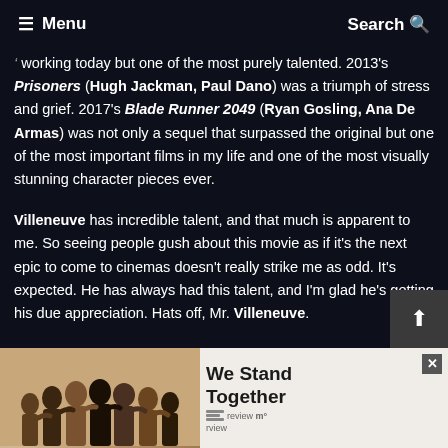Menu  Search
working today but one of the most purely talented. 2013's Prisoners (Hugh Jackman, Paul Dano) was a triumph of stress and grief. 2017's Blade Runner 2049 (Ryan Gosling, Ana De Armas) was not only a sequel that surpassed the original but one of the most important films in my life and one of the most visually stunning character pieces ever.
Villeneuve has incredible talent, and that much is apparent to me. So seeing people gush about this movie as if it's the next epic to come to cinemas doesn't really strike me as odd. It's expected. He has always had this talent, and I'm glad he's getting his due appreciation. Hats off, Mr. Villeneuve.
Now the reactions weren't the only bit of information or insight into the film that came out of the film.
[Figure (infographic): Advertisement banner: group of people with arms around each other (silhouettes on tan/brown background), text 'We Stand Together', close button X, review logo with bar icon]